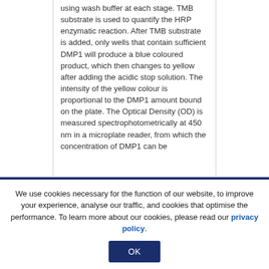using wash buffer at each stage. TMB substrate is used to quantify the HRP enzymatic reaction. After TMB substrate is added, only wells that contain sufficient DMP1 will produce a blue coloured product, which then changes to yellow after adding the acidic stop solution. The intensity of the yellow colour is proportional to the DMP1 amount bound on the plate. The Optical Density (OD) is measured spectrophotometrically at 450 nm in a microplate reader, from which the concentration of DMP1 can be
We use cookies necessary for the function of our website, to improve your experience, analyse our traffic, and cookies that optimise the performance. To learn more about our cookies, please read our privacy policy.